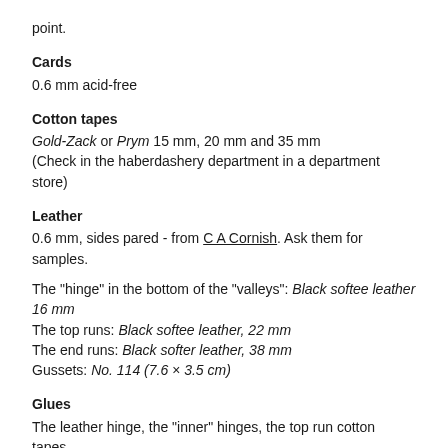point.
Cards
0.6 mm acid-free
Cotton tapes
Gold-Zack or Prym 15 mm, 20 mm and 35 mm
(Check in the haberdashery department in a department store)
Leather
0.6 mm, sides pared - from C A Cornish. Ask them for samples.
The "hinge" in the bottom of the "valleys": Black softee leather 16 mm
The top runs: Black softee leather, 22 mm
The end runs: Black softer leather, 38 mm
Gussets: No. 114 (7.6 × 3.5 cm)
Glues
The leather hinge, the "inner" hinges, the top run cotton tapes, the end run cotton tapes: PVA (the white wood glue)
The cover to "Finished leather. Cement".